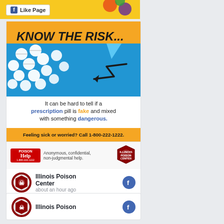[Figure (screenshot): Facebook page top banner with colorful puzzle piece illustration and 'Like Page' button]
[Figure (infographic): Illinois Poison Center 'Know The Risk...' infographic showing prescription pills on blue background with text: 'It can be hard to tell if a prescription pill is fake and mixed with something dangerous.' Orange banner: 'Feeling sick or worried? Call 1-800-222-1222.' Logos for Poison Help 1-800-222-1222 and Illinois Poison Center.]
Illinois Poison Center
about an hour ago
1  Comment  Share
Illinois Poison